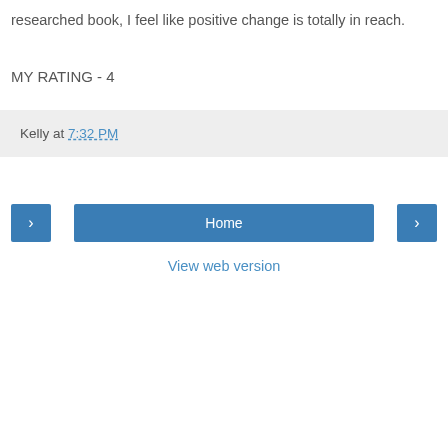researched book, I feel like positive change is totally in reach.
MY RATING - 4
Kelly at 7:32 PM
Home
View web version